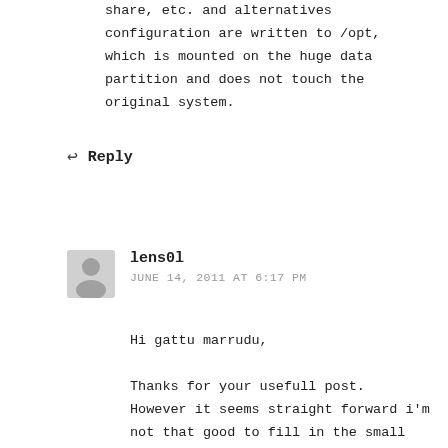share, etc. and alternatives configuration are written to /opt, which is mounted on the huge data partition and does not touch the original system.
↩ Reply
[Figure (illustration): User avatar placeholder: grey silhouette of a person on a light grey background]
lens0l
JUNE 14, 2011 AT 6:17 PM
Hi gattu marrudu,

Thanks for your usefull post. However it seems straight forward i'm not that good to fill in the small gaps to follow your post because my linux knowlegde is from years ago.